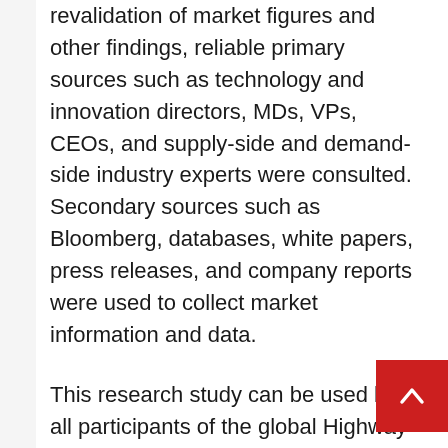revalidation of market figures and other findings, reliable primary sources such as technology and innovation directors, MDs, VPs, CEOs, and supply-side and demand-side industry experts were consulted. Secondary sources such as Bloomberg, databases, white papers, press releases, and company reports were used to collect market information and data.
This research study can be used by all participants of the global Highway Hazard Marker market as it covers every major and minor aspect of the current and future market competition. Even for stakeholders, it can prove highly beneficial, considering the range of studies offered along with detailed analysis of